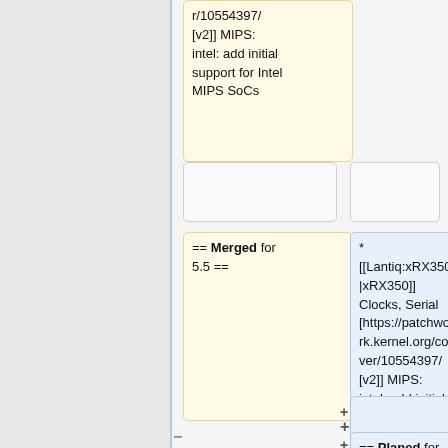r/10554397/ [v2]] MIPS: intel: add initial support for Intel MIPS SoCs
== Merged for 5.5 ==
* [[Lantiq:xRX350|xRX350]] Clocks, Serial [https://patchwork.kernel.org/cover/10554397/ [v2]] MIPS: intel: add initial support for Intel MIPS
== Planed for 5.12 ==